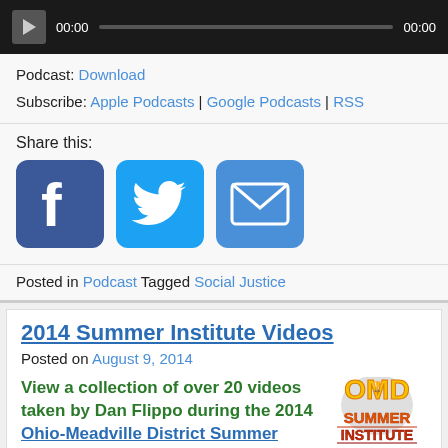[Figure (screenshot): Audio player bar with play button, 00:00 time stamps and progress bar on dark background]
Podcast: Download
Subscribe: Apple Podcasts | Google Podcasts | RSS
Share this:
[Figure (screenshot): Three social share icons: Facebook, Twitter, Email]
Posted in Podcast Tagged Social Justice
2014 Summer Institute Videos
Posted on August 9, 2014
View a collection of over 20 videos taken by Dan Flippo during the 2014 Ohio-Meadville District Summer Institute
[Figure (logo): OMD Summer Institute logo in yellow/orange/red]